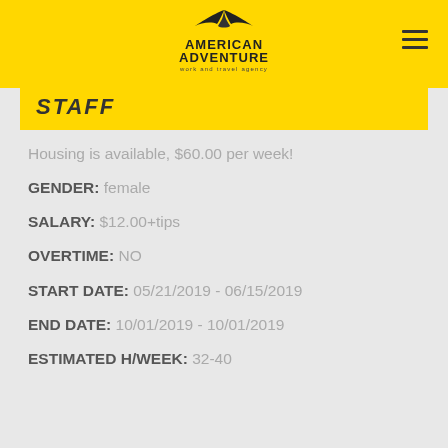[Figure (logo): American Adventure work and travel agency logo with bird silhouette]
STAFF
Housing is available, $60.00 per week!
GENDER: female
SALARY: $12.00+tips
OVERTIME: NO
START DATE: 05/21/2019 - 06/15/2019
END DATE: 10/01/2019 - 10/01/2019
ESTIMATED H/WEEK: 32-40